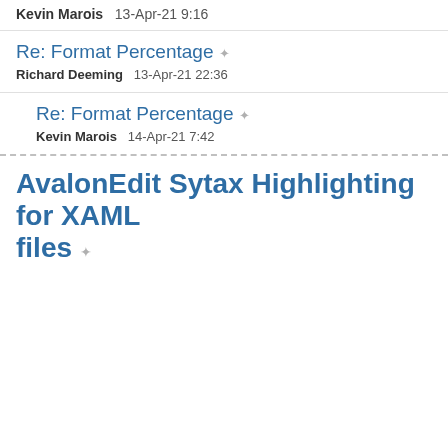Kevin Marois   13-Apr-21 9:16
Re: Format Percentage
Richard Deeming   13-Apr-21 22:36
Re: Format Percentage
Kevin Marois   14-Apr-21 7:42
AvalonEdit Sytax Highlighting for XAML files
[Figure (screenshot): Cookie consent banner overlay with orange background. Text: 'Like every other website we use cookies. By using our site you acknowledge that you have read and understand our Cookie Policy, Privacy Policy, and our Terms of Service. Learn more'. Buttons: 'Ask me later', 'Decline', 'Allow cookies'.]
g for XAML